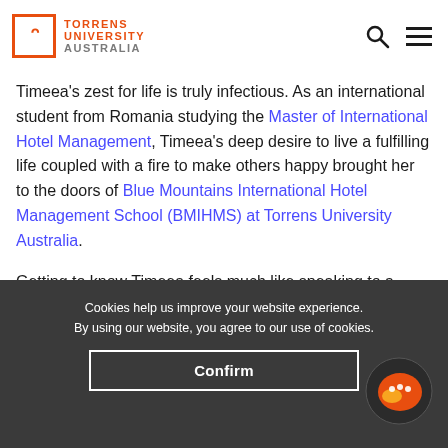[Figure (logo): Torrens University Australia logo with orange T icon and text]
Timeea's zest for life is truly infectious. As an international student from Romania studying the Master of International Hotel Management, Timeea's deep desire to live a fulfilling life coupled with a fire to make others happy brought her to the doors of Blue Mountains International Hotel Management School (BMIHMS) at Torrens University Australia.
Getting to know Timeea feels much like speaking to a seasoned motivational speaker. You can't help but feel
Cookies help us improve your website experience.
By using our website, you agree to our use of cookies.
Confirm